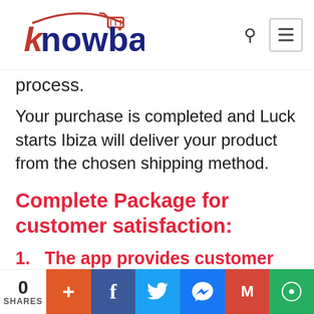Knowband [logo with shopping cart]
process.
Your purchase is completed and Luck starts Ibiza will deliver your product from the chosen shipping method.
Complete Package for customer satisfaction:
1.   The app provides customer support with live chat
If customers need any help from the
0 SHARES | + | f | Twitter | Messenger | M | chat